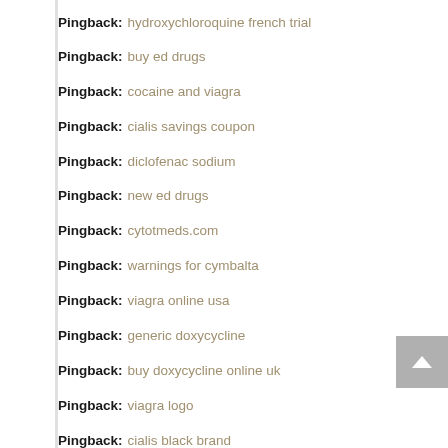Pingback: hydroxychloroquine french trial
Pingback: buy ed drugs
Pingback: cocaine and viagra
Pingback: cialis savings coupon
Pingback: diclofenac sodium
Pingback: new ed drugs
Pingback: cytotmeds.com
Pingback: warnings for cymbalta
Pingback: viagra online usa
Pingback: generic doxycycline
Pingback: buy doxycycline online uk
Pingback: viagra logo
Pingback: cialis black brand
Pingback: sildenafil over counter
Pingback: tadalafil generic canada